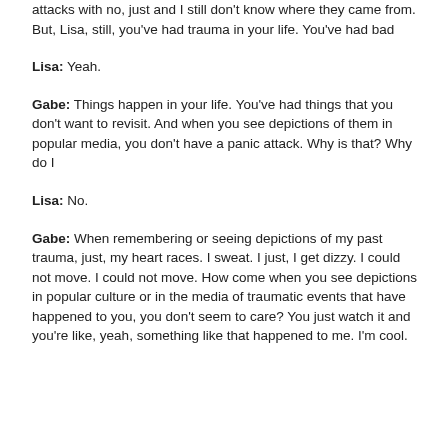attacks with no, just and I still don't know where they came from. But, Lisa, still, you've had trauma in your life. You've had bad
Lisa: Yeah.
Gabe: Things happen in your life. You've had things that you don't want to revisit. And when you see depictions of them in popular media, you don't have a panic attack. Why is that? Why do I
Lisa: No.
Gabe: When remembering or seeing depictions of my past trauma, just, my heart races. I sweat. I just, I get dizzy. I could not move. I could not move. How come when you see depictions in popular culture or in the media of traumatic events that have happened to you, you don't seem to care? You just watch it and you're like, yeah, something like that happened to me. I'm cool.